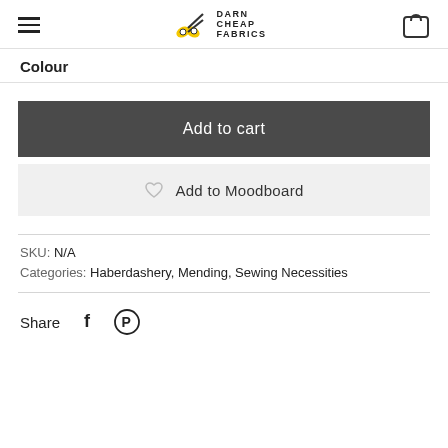Darn Cheap Fabrics
Colour
Add to cart
Add to Moodboard
SKU: N/A
Categories: Haberdashery, Mending, Sewing Necessities
Share